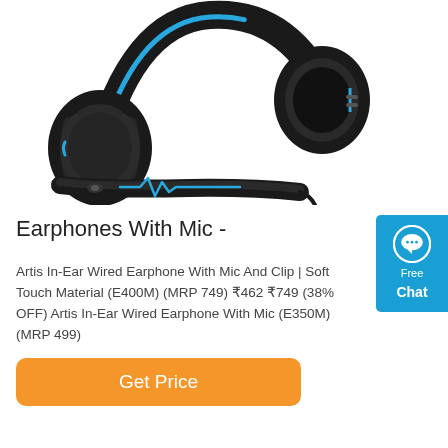[Figure (photo): Black and blue over-ear gaming headset/headphone with microphone arm, showing the earcup padding and headband with blue heartbeat line design, photographed against white background]
Earphones With Mic -
Artis In-Ear Wired Earphone With Mic And Clip | Soft Touch Material (E400M) (MRP 749) ₹462 ₹749 (38% OFF) Artis In-Ear Wired Earphone With Mic (E350M) (MRP 499)
[Figure (other): Blue chat widget button with speech bubble icon, 'Free' text and 'Chat' label in white]
Get Price